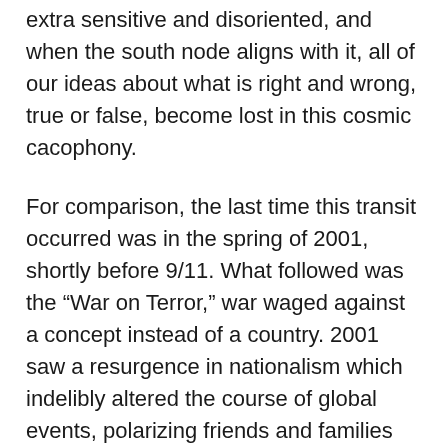extra sensitive and disoriented, and when the south node aligns with it, all of our ideas about what is right and wrong, true or false, become lost in this cosmic cacophony.
For comparison, the last time this transit occurred was in the spring of 2001, shortly before 9/11. What followed was the “War on Terror,” war waged against a concept instead of a country. 2001 saw a resurgence in nationalism which indelibly altered the course of global events, polarizing friends and families by ethical allegiance. During the GC/south node conjunction, we can be led astray by leaders who appear as saviors, but we can also use this time to question whether our beliefs are helping or hurting the evolution of humankind.Read me: 2020 Jupiter-Pluto Conjunction: Birthing Ambition and Passion From the Core